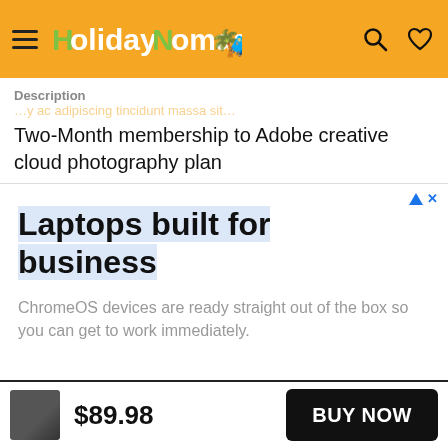HolidayNomad [logo with hamburger menu, search icon, heart icon]
Description
Two-Month membership to Adobe creative cloud photography plan
[Figure (screenshot): Advertisement banner: 'Laptops built for business' with subtext 'ChromeOS devices are ready straight out of the box so you can get to work immediately.']
$89.98  BUY NOW